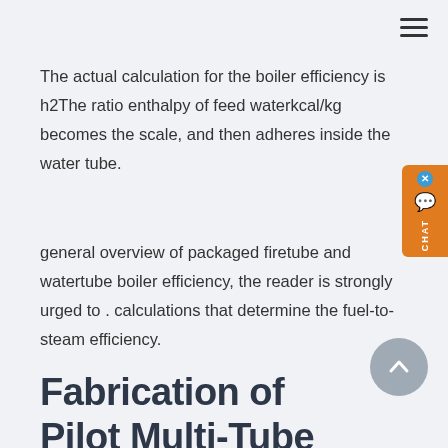The actual calculation for the boiler efficiency is h2⁠The ratio enthalpy of feed water⁠kcal/kg⁠ becomes the scale, and then adheres inside the water tube.
general overview of packaged firetube and watertube boiler efficiency, the reader is strongly urged to . calculations that determine the fuel-to-steam efficiency.
Fabrication of Pilot Multi-Tube Fire-Tube Boiler Designed